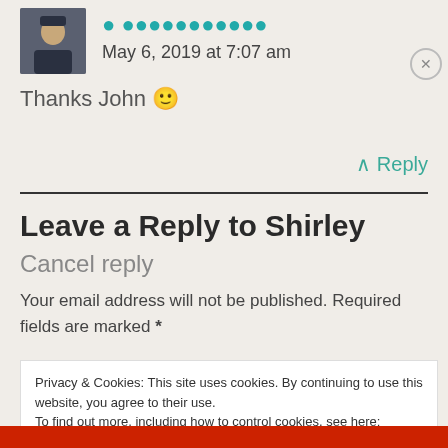[Figure (photo): Avatar photo of a person wearing dark jacket with hat, small square thumbnail]
May 6, 2019 at 7:07 am
Thanks John 🙂
↑ Reply
Leave a Reply to Shirley Cancel reply
Your email address will not be published. Required fields are marked *
Privacy & Cookies: This site uses cookies. By continuing to use this website, you agree to their use.
To find out more, including how to control cookies, see here: Cookie Policy
Close and accept